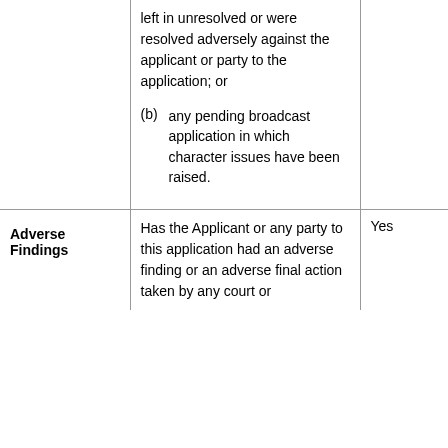|  |  |  |
| --- | --- | --- |
|  | left in unresolved or were resolved adversely against the applicant or party to the application; or
(b) any pending broadcast application in which character issues have been raised. |  |
| Adverse Findings | Has the Applicant or any party to this application had an adverse finding or an adverse final action taken by any court or | Yes |